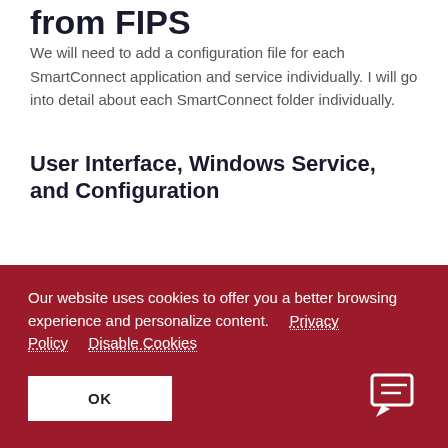from FIPS
We will need to add a configuration file for each SmartConnect application and service individually. I will go into detail about each SmartConnect folder individually.
User Interface, Windows Service, and Configuration
Our website uses cookies to offer you a better browsing experience and personalize content. Privacy Policy   Disable Cookies
OK